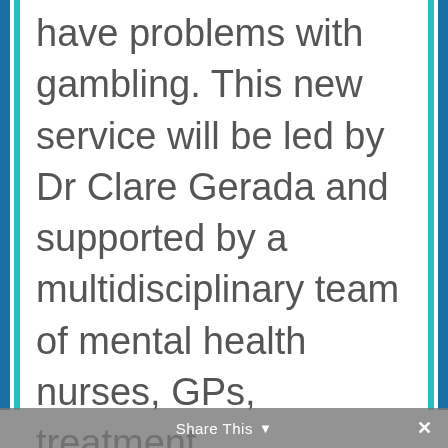have problems with gambling. This new service will be led by Dr Clare Gerada and supported by a multidisciplinary team of mental health nurses, GPs, treatment practitioners and therapists.
Share This ×